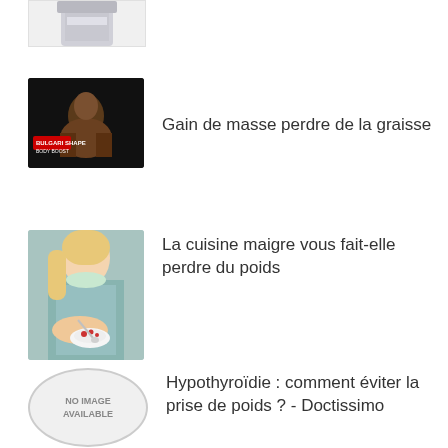[Figure (photo): Partial image of a supplement jar/container, cropped at top]
[Figure (photo): Dark background image of a muscular bodybuilder with red label text overlay]
Gain de masse perdre de la graisse
[Figure (photo): Woman in light blue tank top eating yogurt with a spoon, holding a white bowl with red berries]
La cuisine maigre vous fait-elle perdre du poids
[Figure (other): No image available placeholder - circular grey placeholder]
Hypothyroïdie : comment éviter la prise de poids ? - Doctissimo